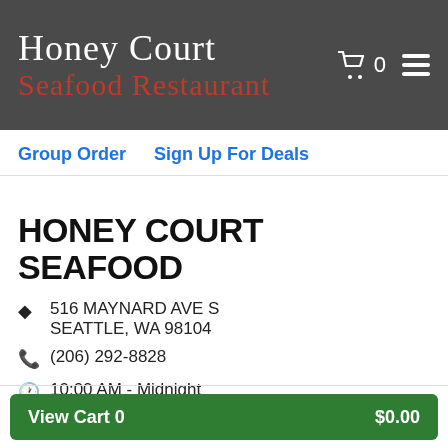Honey Court Seafood Restaurant
Group Order
Sign Up For Deals
HONEY COURT SEAFOOD
516 MAYNARD AVE S SEATTLE, WA 98104
(206) 292-8828
10:00 AM - Midnight
91% of 118 customers recommended
Start your carryout order.
View Cart 0   $0.00